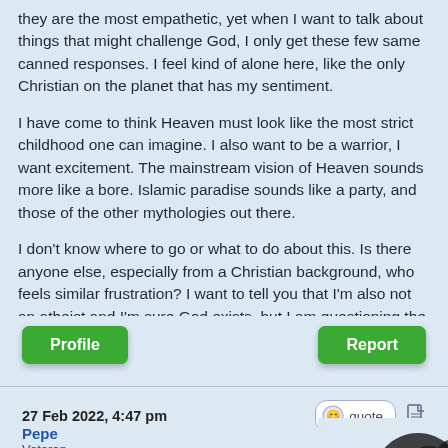they are the most empathetic, yet when I want to talk about things that might challenge God, I only get these few same canned responses. I feel kind of alone here, like the only Christian on the planet that has my sentiment.
I have come to think Heaven must look like the most strict childhood one can imagine. I also want to be a warrior, I want excitement. The mainstream vision of Heaven sounds more like a bore. Islamic paradise sounds like a party, and those of the other mythologies out there.
I don't know where to go or what to do about this. Is there anyone else, especially from a Christian background, who feels similar frustration? I want to tell you that I'm also not an atheist and I'm sure God exists, but I am questioning the justness of it all watching life and other people with trials.
Profile
Report
27 Feb 2022, 4:47 pm
quote
Pepe
Veteran